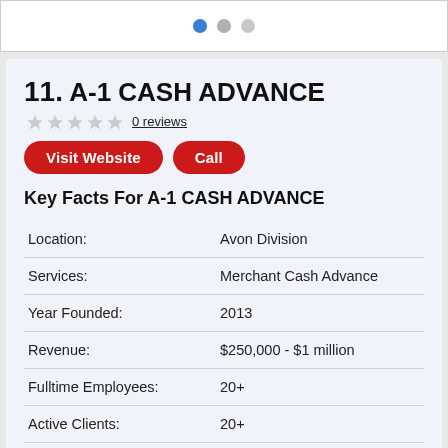[Figure (other): Pagination dots: one blue dot and two gray dots]
11. A-1 CASH ADVANCE
0 reviews
Visit Website | Call
Key Facts For A-1 CASH ADVANCE
|  |  |
| --- | --- |
| Location: | Avon Division |
| Services: | Merchant Cash Advance |
| Year Founded: | 2013 |
| Revenue: | $250,000 - $1 million |
| Fulltime Employees: | 20+ |
| Active Clients: | 20+ |
| Client Retention Rate: | 82 |
| Pricing: | M |